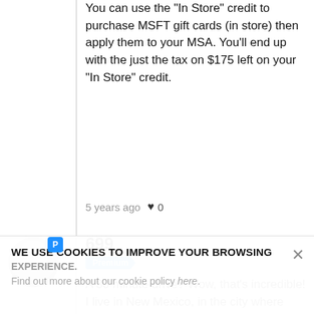You can use the "In Store" credit to purchase MSFT gift cards (in store) then apply them to your MSA. You'll end up with the just the tax on $175 left on your "In Store" credit.
5 years ago ♥ 0
699
Premium
A 30 minute drive? Wow, that's incredible! I live in New Mexico, in the city where Microsoft was founded, and my closest Microsoft Store is a whopping 8 hour drive to Dallas, TX!! (Haha) They really
WE USE COOKIES TO IMPROVE YOUR BROWSING EXPERIENCE. Find out more about our cookie policy here.